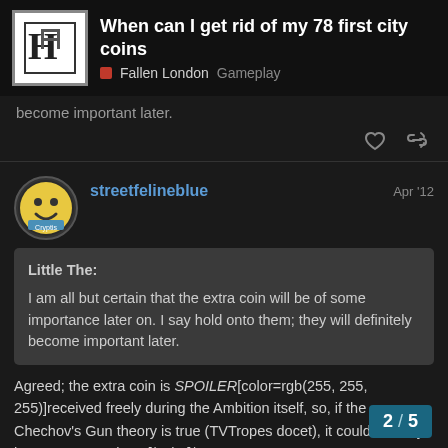When can I get rid of my 78 first city coins — Fallen London Gameplay
become important later.
streetfelineblue Apr '12
Little The:

I am all but certain that the extra coin will be of some importance later on. I say hold onto them; they will definitely become important later.
Agreed; the extra coin is SPOILER[color=rgb(255, 255, 255)]received freely during the Ambition itself, so, if the Chechov's Gun theory is true (TVTropes docet), it could actually have some use later.[/color]/SPOILER

On a side thought, usually it is good to hol
2 / 5